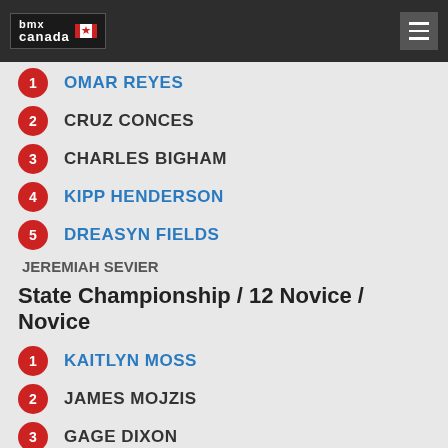[Figure (logo): BMX Canada logo in dark header bar with hamburger menu button]
1 OMAR REYES
2 CRUZ CONCES
3 CHARLES BIGHAM
4 KIPP HENDERSON
5 DREASYN FIELDS
JEREMIAH SEVIER
State Championship / 12 Novice / Novice
1 KAITLYN MOSS
2 JAMES MOJZIS
3 GAGE DIXON
4 TREYTON STEED
LIAM HORNE